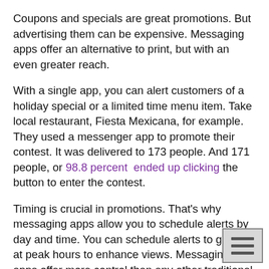Coupons and specials are great promotions. But advertising them can be expensive. Messaging apps offer an alternative to print, but with an even greater reach.
With a single app, you can alert customers of a holiday special or a limited time menu item. Take local restaurant, Fiesta Mexicana, for example. They used a messenger app to promote their contest. It was delivered to 173 people. And 171 people, or 98.8 percent ended up clicking the button to enter the contest.
Timing is crucial in promotions. That's why messaging apps allow you to schedule alerts by day and time. You can schedule alerts to go out at peak hours to enhance views. Messaging apps offer more control than any other traditional channel.